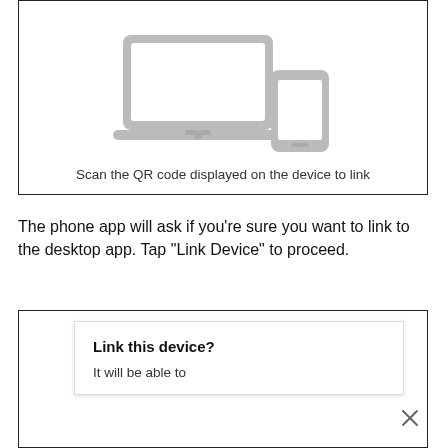[Figure (illustration): Illustration of a laptop and a smartphone/tablet side by side, rendered in gray]
Scan the QR code displayed on the device to link
The phone app will ask if you're sure you want to link to the desktop app. Tap “Link Device” to proceed.
[Figure (screenshot): A dialog card showing 'Link this device?' with subtitle 'It will be able to' partially visible, with a close (X) button]
Link this device?
It will be able to